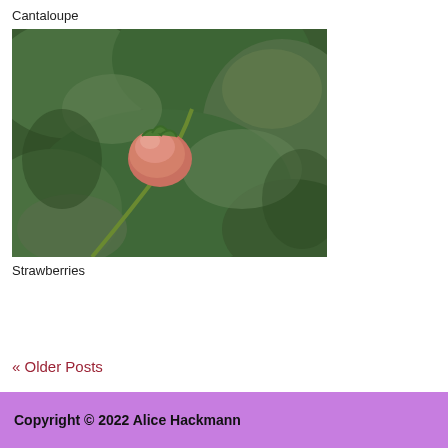Cantaloupe
[Figure (photo): Close-up photo of a strawberry plant with green leaves and a pink-red unripe strawberry fruit visible in the center.]
Strawberries
« Older Posts
Copyright © 2022 Alice Hackmann